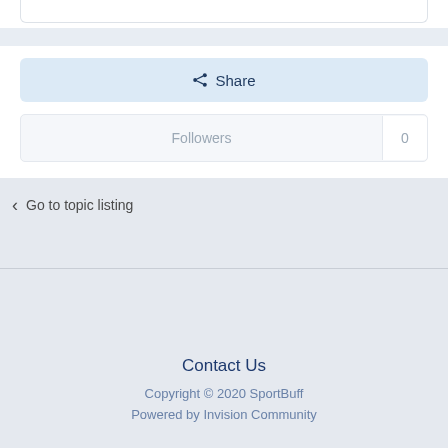Share
Followers  0
Go to topic listing
Contact Us
Copyright © 2020 SportBuff
Powered by Invision Community